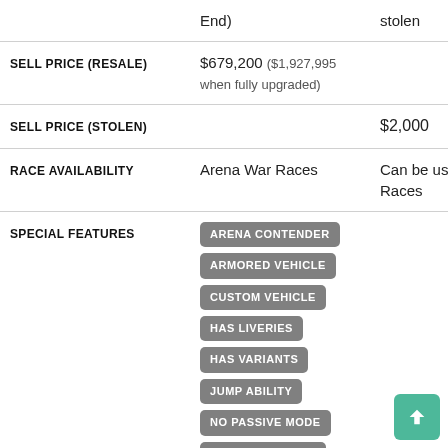|  |  | stolen |
| --- | --- | --- |
| SELL PRICE (RESALE) | $679,200 ($1,927,995 when fully upgraded) |  |
| SELL PRICE (STOLEN) |  | $2,000 |
| RACE AVAILABILITY | Arena War Races | Can be used in Races |
| SPECIAL FEATURES | ARENA CONTENDER, ARMORED VEHICLE, CUSTOM VEHICLE, HAS LIVERIES, HAS VARIANTS, JUMP ABILITY, NO PASSIVE MODE, PROXIMITY MINES |  |